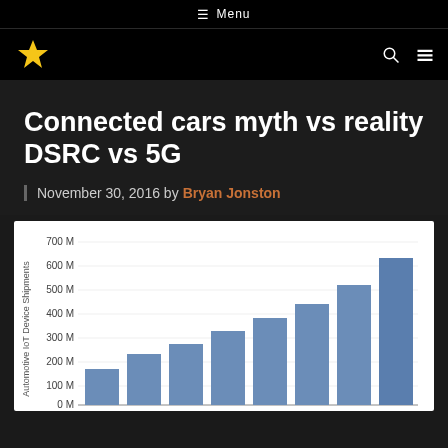Menu
Connected cars myth vs reality DSRC vs 5G
November 30, 2016 by Bryan Jonston
[Figure (bar-chart): Automotive IoT Device Shipments]